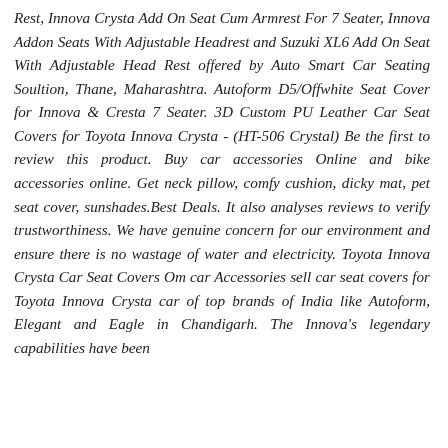Rest, Innova Crysta Add On Seat Cum Armrest For 7 Seater, Innova Addon Seats With Adjustable Headrest and Suzuki XL6 Add On Seat With Adjustable Head Rest offered by Auto Smart Car Seating Soultion, Thane, Maharashtra. Autoform D5/Offwhite Seat Cover for Innova & Cresta 7 Seater. 3D Custom PU Leather Car Seat Covers for Toyota Innova Crysta - (HT-506 Crystal) Be the first to review this product. Buy car accessories Online and bike accessories online. Get neck pillow, comfy cushion, dicky mat, pet seat cover, sunshades.Best Deals. It also analyses reviews to verify trustworthiness. We have genuine concern for our environment and ensure there is no wastage of water and electricity. Toyota Innova Crysta Car Seat Covers Om car Accessories sell car seat covers for Toyota Innova Crysta car of top brands of India like Autoform, Elegant and Eagle in Chandigarh. The Innova's legendary capabilities have been